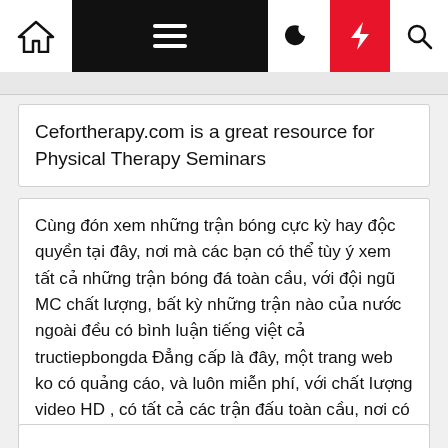Navigation bar with home, menu, moon, bolt, and search icons
Cefortherapy.com is a great resource for Physical Therapy Seminars
Cùng đón xem những trận bóng cực kỳ hay độc quyền tại đây, nơi mà các bạn có thể tùy ý xem tất cả những trận bóng đá toàn cầu, với đội ngũ MC chất lượng, bất kỳ những trận nào của nước ngoài đều có bình luận tiếng việt cả tructiepbongda Đẳng cấp là đây, một trang web ko có quảng cáo, và luôn miễn phí, với chất lượng video HD , có tất cả các trận đấu toàn cầu, nơi có lượng người xem đông đảo, hãy cùng đón xem